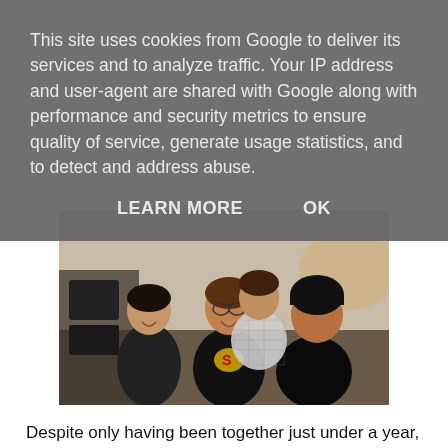This site uses cookies from Google to deliver its services and to analyze traffic. Your IP address and user-agent are shared with Google along with performance and security metrics to ensure quality of service, generate usage statistics, and to detect and address abuse.
LEARN MORE    OK
[Figure (photo): Photo of a band group of young people, three visible in foreground, one in background; they are laughing and posing, wearing dark jackets and casual clothing, in what appears to be an indoor venue.]
Despite only having been together just under a year, they have an incredibly articulated sound and their electrifying live performances have seen them secure support slots with the likes of Glass Caves and King No-One. For such a young band, they have such a fantastic work ethic and are clearly in